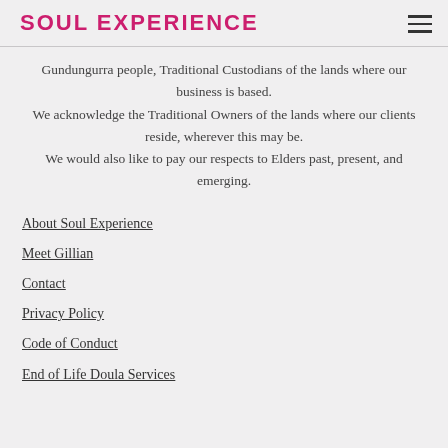SOUL EXPERIENCE
Gundungurra people, Traditional Custodians of the lands where our business is based. We acknowledge the Traditional Owners of the lands where our clients reside, wherever this may be. We would also like to pay our respects to Elders past, present, and emerging.
About Soul Experience
Meet Gillian
Contact
Privacy Policy
Code of Conduct
End of Life Doula Services